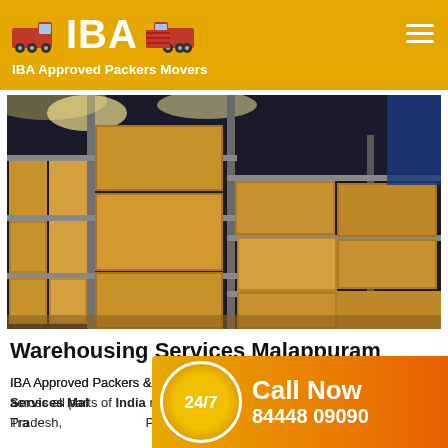IBA Approved Packers Movers
[Figure (photo): Warehouse interior with stacked cardboard boxes on tall metal shelving racks, wide-angle view.]
Warehousing Services Malappuram
IBA Approved Packers & Movers Malappuram offers best Warehousing Services Malappuram across all parts of India region such as Car Transportation, Andhra Pradesh, Arunachal Pradesh
[Figure (infographic): Call Now banner with 24/7 badge and phone number 84448 09090]